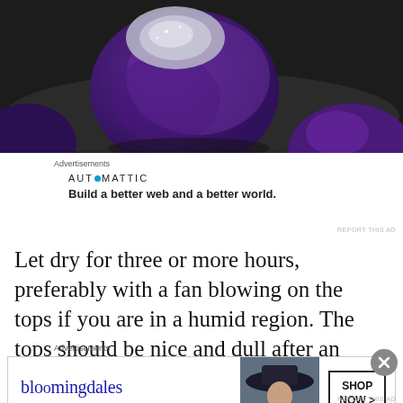[Figure (photo): Close-up photo of shiny purple/violet chocolate bonbons or confections with metallic silver-dusted tops on a dark surface]
Advertisements
[Figure (other): Automattic advertisement: AUTOMATTIC logo with blue dot, tagline 'Build a better web and a better world.']
REPORT THIS AD
Let dry for three or more hours, preferably with a fan blowing on the tops if you are in a humid region. The tops should be nice and dull after an hour or so, but you should
Advertisements
[Figure (other): Bloomingdale's advertisement banner: bloomingdales logo, 'View Today's Top Deals!' text, woman in hat image, 'SHOP NOW >' button]
REPORT THIS AD